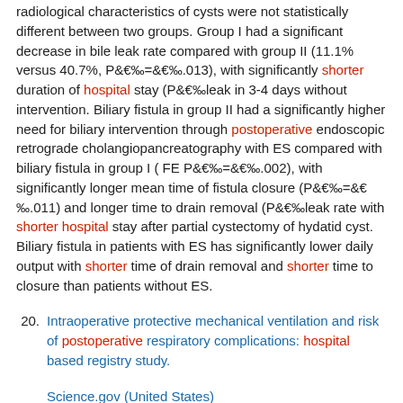radiological characteristics of cysts were not statistically different between two groups. Group I had a significant decrease in bile leak rate compared with group II (11.1% versus 40.7%, P‰=‰.013), with significantly shorter duration of hospital stay (P‰leak in 3-4 days without intervention. Biliary fistula in group II had a significantly higher need for biliary intervention through postoperative endoscopic retrograde cholangiopancreatography with ES compared with biliary fistula in group I ( FE P‰=‰.002), with significantly longer mean time of fistula closure (P‰=‰.011) and longer time to drain removal (P‰leak rate with shorter hospital stay after partial cystectomy of hydatid cyst. Biliary fistula in patients with ES has significantly lower daily output with shorter time of drain removal and shorter time to closure than patients without ES.
20. Intraoperative protective mechanical ventilation and risk of postoperative respiratory complications: hospital based registry study.
Science.gov (United States)
Ladha, Karim; Vidal Melo, Marcos F; McLean, Duncan J; Wanderer, Jonathan P; Grabitz, Stephanie D; Kurth, Tobias; Eikermann, Matthias